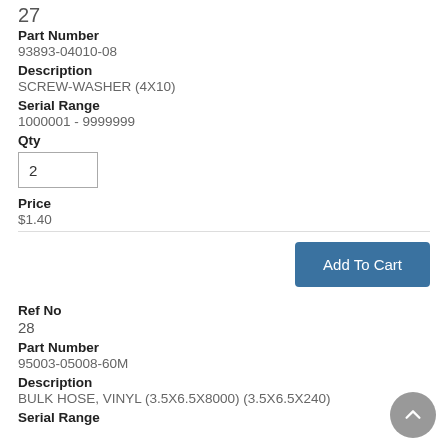27
Part Number
93893-04010-08
Description
SCREW-WASHER (4X10)
Serial Range
1000001 - 9999999
Qty
2
Price
$1.40
Add To Cart
Ref No
28
Part Number
95003-05008-60M
Description
BULK HOSE, VINYL (3.5X6.5X8000) (3.5X6.5X240)
Serial Range